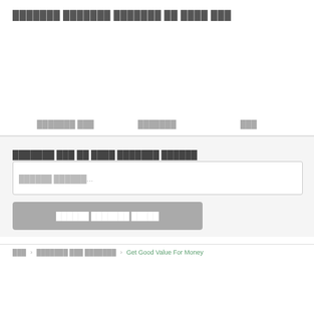███████ ███████ ███████ ██ ████ ███
███████ ███   ███████   ███
███████ ███ ██ ████ ███████ ██████
██████ ██████...
██████ ███████ █████
███   ███████ ███ ███████   Get Good Value For Money